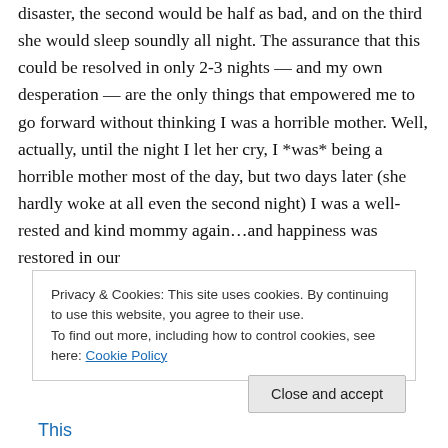disaster, the second would be half as bad, and on the third she would sleep soundly all night. The assurance that this could be resolved in only 2-3 nights — and my own desperation — are the only things that empowered me to go forward without thinking I was a horrible mother. Well, actually, until the night I let her cry, I *was* being a horrible mother most of the day, but two days later (she hardly woke at all even the second night) I was a well-rested and kind mommy again…and happiness was restored in our
Privacy & Cookies: This site uses cookies. By continuing to use this website, you agree to their use.
To find out more, including how to control cookies, see here: Cookie Policy
Close and accept
This